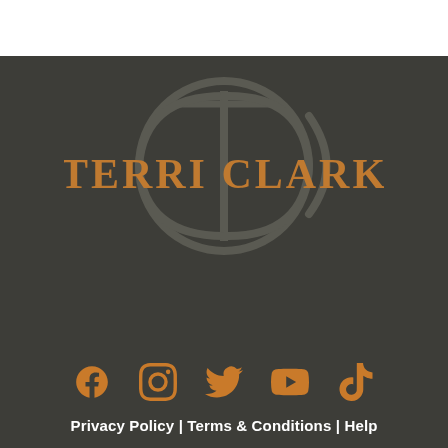[Figure (logo): Terri Clark logo with 'TC' monogram inside a circle and the text 'TERRI CLARK' in western-style font, rendered in muted brown/gray tones on dark background]
[Figure (infographic): Five social media icons in orange: Facebook, Instagram, Twitter, YouTube, TikTok]
Privacy Policy | Terms & Conditions | Help